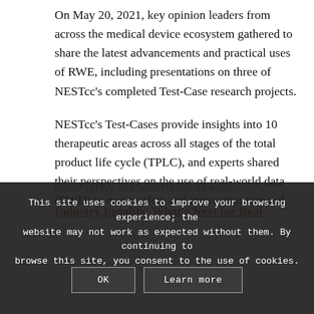On May 20, 2021, key opinion leaders from across the medical device ecosystem gathered to share the latest advancements and practical uses of RWE, including presentations on three of NESTcc's completed Test-Case research projects.
NESTcc's Test-Cases provide insights into 10 therapeutic areas across all stages of the total product life cycle (TPLC), and experts shared their perspectives on the use of real-world data (RWD) to move safety and innovation forward.
Industry Insights: What's Next for Real-World Evidence?
This site uses cookies to improve your browsing experience; the website may not work as expected without them. By continuing to browse this site, you consent to the use of cookies.